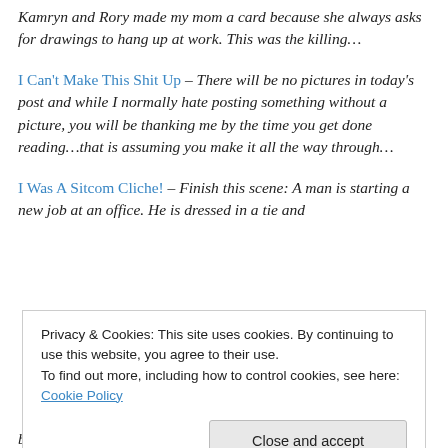Kamryn and Rory made my mom a card because she always asks for drawings to hang up at work.  This was the killing…
I Can't Make This Shit Up – There will be no pictures in today's post and while I normally hate posting something without a picture, you will be thanking me by the time you get done reading…that is assuming you make it all the way through…
I Was A Sitcom Cliche! – Finish this scene:  A man is starting a new job at an office.  He is dressed in a tie and
Privacy & Cookies: This site uses cookies. By continuing to use this website, you agree to their use.
To find out more, including how to control cookies, see here: Cookie Policy
bought a new car. Ryan and I have been married for